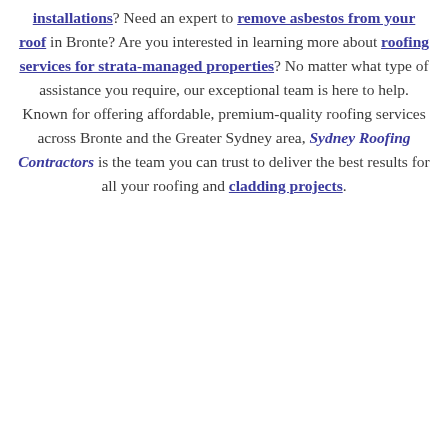installations? Need an expert to remove asbestos from your roof in Bronte? Are you interested in learning more about roofing services for strata-managed properties? No matter what type of assistance you require, our exceptional team is here to help. Known for offering affordable, premium-quality roofing services across Bronte and the Greater Sydney area, Sydney Roofing Contractors is the team you can trust to deliver the best results for all your roofing and cladding projects.